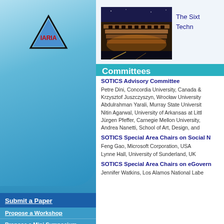[Figure (logo): IARIA triangle logo with blue triangle and IARIA text in red]
Submit a Paper
Propose a Workshop
Propose a Mini Symposium
Information for Sponsors
General Information
Touristic Information
Hotels and Travel
Call for Papers
[Figure (photo): Photo of the Colosseum in Rome at night/dusk]
The Sixt... Techn...
Committees
SOTICS Advisory Committee
Petre Dini, Concordia University, Canada &
Krzysztof Juszczyszyn, Wrocław University
Abdulrahman Yarali, Murray State Universit
Nitin Agarwal, University of Arkansas at Littl
Jürgen Pfeffer, Carnegie Mellon University,
Andrea Nanetti, School of Art, Design, and
SOTICS Special Area Chairs on Social N
Feng Gao, Microsoft Corporation, USA
Lynne Hall, University of Sunderland, UK
SOTICS Special Area Chairs on eGovern
Jennifer Watkins, Los Alamos National Labe